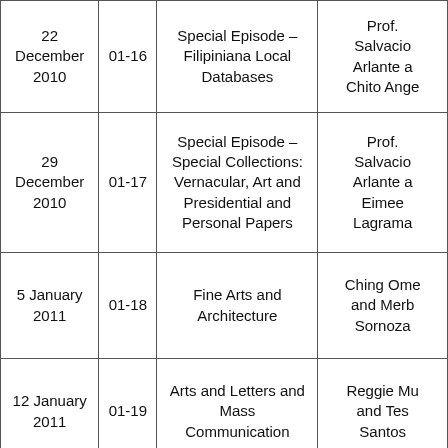| 22 December 2010 | 01-16 | Special Episode – Filipiniana Local Databases | Prof. Salvacio Arlante and Chito Ange... |
| 29 December 2010 | 01-17 | Special Episode – Special Collections: Vernacular, Art and Presidential and Personal Papers | Prof. Salvacio Arlante and Eimee Lagrama... |
| 5 January 2011 | 01-18 | Fine Arts and Architecture | Ching Ome... and Merb... Sornoza... |
| 12 January 2011 | 01-19 | Arts and Letters and Mass Communication | Reggie Mu... and Tes Santos |
| 19 January | 01-20 | Music and Vargas Museum | Flor Sant... |